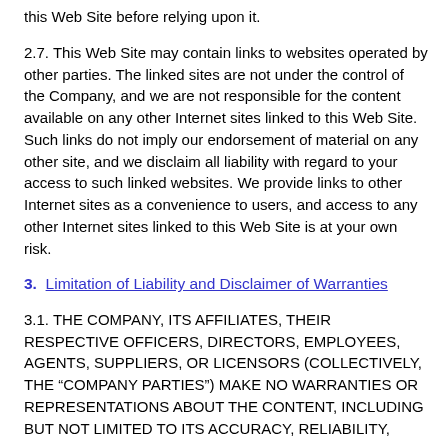this Web Site before relying upon it.
2.7. This Web Site may contain links to websites operated by other parties. The linked sites are not under the control of the Company, and we are not responsible for the content available on any other Internet sites linked to this Web Site. Such links do not imply our endorsement of material on any other site, and we disclaim all liability with regard to your access to such linked websites. We provide links to other Internet sites as a convenience to users, and access to any other Internet sites linked to this Web Site is at your own risk.
3.  Limitation of Liability and Disclaimer of Warranties
3.1. THE COMPANY, ITS AFFILIATES, THEIR RESPECTIVE OFFICERS, DIRECTORS, EMPLOYEES, AGENTS, SUPPLIERS, OR LICENSORS (COLLECTIVELY, THE “COMPANY PARTIES”) MAKE NO WARRANTIES OR REPRESENTATIONS ABOUT THE CONTENT, INCLUDING BUT NOT LIMITED TO ITS ACCURACY, RELIABILITY,